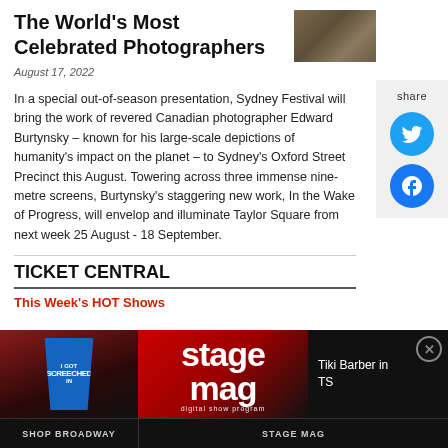The World's Most Celebrated Photographers
[Figure (photo): Thumbnail photograph related to the article]
August 17, 2022
In a special out-of-season presentation, Sydney Festival will bring the work of revered Canadian photographer Edward Burtynsky – known for his large-scale depictions of humanity's impact on the planet – to Sydney's Oxford Street Precinct this August. Towering across three immense nine-metre screens, Burtynsky's staggering new work, In the Wake of Progress, will envelop and illuminate Taylor Square from next week 25 August - 18 September.
TICKET CENTRAL
This Week's HOT Shows
[Figure (screenshot): Stage Mag advertisement banner showing a blue cup with SCREECHED text, stage mag logo, Tiki Barber in TS text, with SHOP BROADWAY and STAGE MAG labels at bottom]